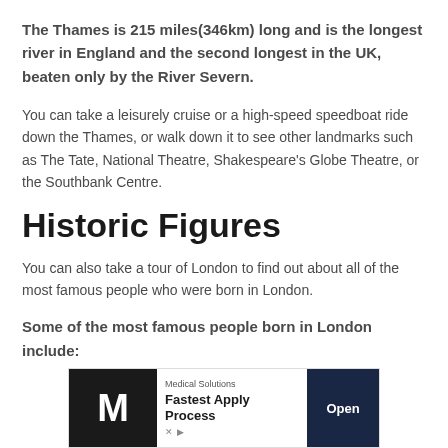The Thames is 215 miles(346km) long and is the longest river in England and the second longest in the UK, beaten only by the River Severn.
You can take a leisurely cruise or a high-speed speedboat ride down the Thames, or walk down it to see other landmarks such as The Tate, National Theatre, Shakespeare’s Globe Theatre, or the Southbank Centre.
Historic Figures
You can also take a tour of London to find out about all of the most famous people who were born in London.
Some of the most famous people born in London include:
[Figure (other): Advertisement banner for Medical Solutions showing logo with letter M, text 'Medical Solutions', 'Fastest Apply Process', and an 'Open' button]